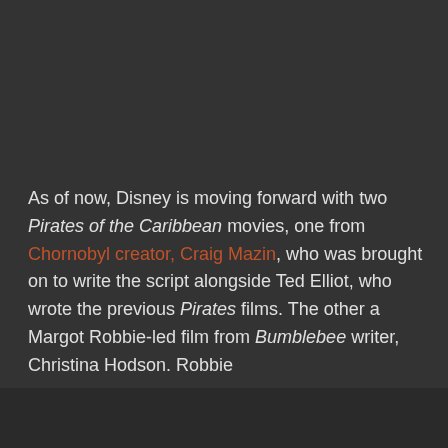As of now, Disney is moving forward with two Pirates of the Caribbean movies, one from Chornobyl creator, Craig Mazin, who was brought on to write the script alongside Ted Elliot, who wrote the previous Pirates films. The other a Margot Robbie-led film from Bumblebee writer, Christina Hodson. Robbie